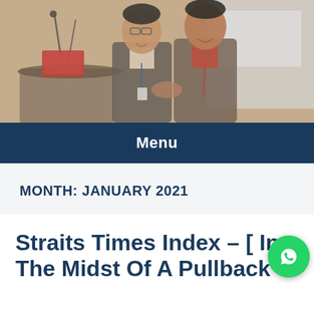[Figure (photo): Two men in business attire smiling and shaking hands at a conference, with a podium on the left, microphone, and a presentation screen visible in the background. The photo has warm tones.]
Menu
MONTH: JANUARY 2021
Straits Times Index – [ In The Midst Of A Pullback